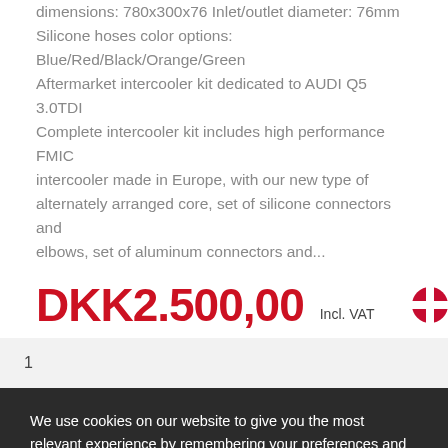dimensions: 780x300x76 Inlet/outlet diameter: 76mm Silicone hoses color options: Blue/Red/Black/Orange/Green Aftermarket intercooler kit dedicated to AUDI Q5 3.0TDI Complete intercooler kit includes high performance FMIC intercooler made in Europe, with our new type of alternately arranged core, set of silicone connectors and elbows, set of aluminum connectors and...
DKK2.500,00 Incl. VAT
1
We use cookies on our website to give you the most relevant experience by remembering your preferences and repeat visits. By clicking “Accept”, you consent to the use of ALL the cookies.
Cookie settings
ACCEPT
English